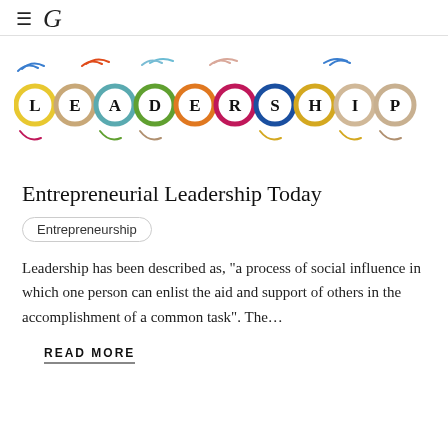≡ G
[Figure (illustration): Colorful circular letter tiles spelling LEADERSHIP with decorative swirl accents above and below each letter, rendered in various colors including yellow, beige, teal, green, orange, pink, blue, and gold.]
Entrepreneurial Leadership Today
Entrepreneurship
Leadership has been described as, "a process of social influence in which one person can enlist the aid and support of others in the accomplishment of a common task". The...
READ MORE